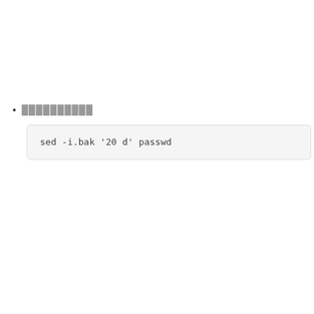██████████
sed -i.bak '20 d' passwd